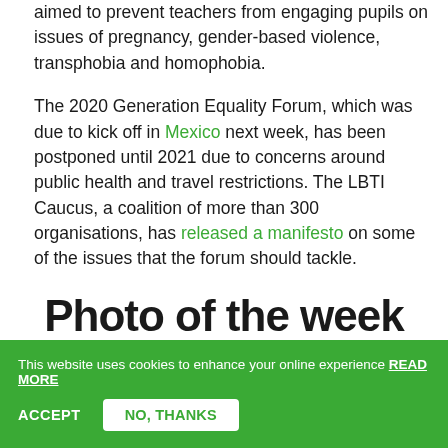aimed to prevent teachers from engaging pupils on issues of pregnancy, gender-based violence, transphobia and homophobia.
The 2020 Generation Equality Forum, which was due to kick off in Mexico next week, has been postponed until 2021 due to concerns around public health and travel restrictions. The LBTI Caucus, a coalition of more than 300 organisations, has released a manifesto on some of the issues that the forum should tackle.
Photo of the week
This website uses cookies to enhance your online experience READ MORE
ACCEPT  NO, THANKS